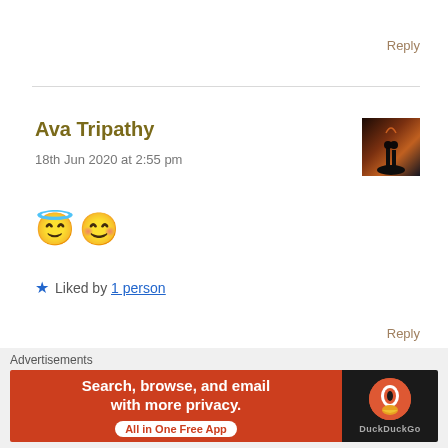Reply
Ava Tripathy
18th Jun 2020 at 2:55 pm
[Figure (photo): Avatar photo of a silhouette couple against an orange sky]
😇😊
★ Liked by 1 person
Reply
justcalmwildness
[Figure (photo): Small avatar thumbnail]
Advertisements
[Figure (screenshot): DuckDuckGo advertisement banner: Search, browse, and email with more privacy. All in One Free App]